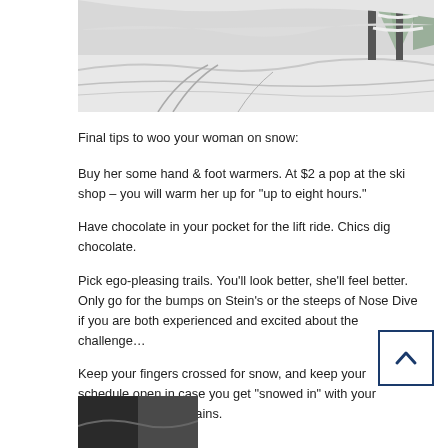[Figure (photo): Snowy ski slope scene with snow-covered trees in the background, showing ski tracks in the fresh powder snow.]
Final tips to woo your woman on snow:
Buy her some hand & foot warmers. At $2 a pop at the ski shop – you will warm her up for “up to eight hours.”
Have chocolate in your pocket for the lift ride. Chics dig chocolate.
Pick ego-pleasing trails. You’ll look better, she’ll feel better. Only go for the bumps on Stein’s or the steeps of Nose Dive if you are both experienced and excited about the challenge…
Keep your fingers crossed for snow, and keep your schedule open in case you get “snowed in” with your sweetie in the mountains.
[Figure (photo): Partial bottom image, appears to be another ski-related photo, partially cut off at the bottom of the page.]